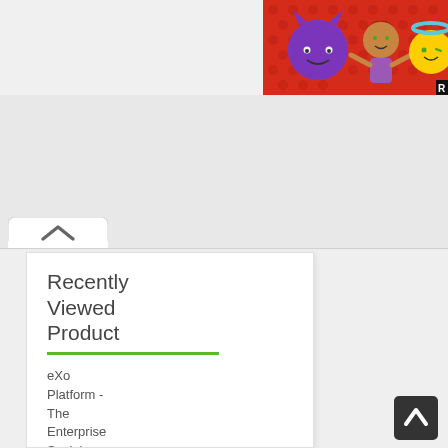[Figure (illustration): Advertisement banner with red polka-dot background showing emojis: purple devil, woman shrugging, and angel emoji. Black 'R' label in bottom right corner.]
[Figure (screenshot): UI tab bar with a white tab showing an up-arrow (chevron) button, part of a web interface navigation element.]
Recently Viewed Product
eXo Platform - The Enterprise Social Platform
Trac -
[Figure (illustration): Scroll-to-top button: dark grey rounded square with white upward chevron arrow, positioned bottom right.]